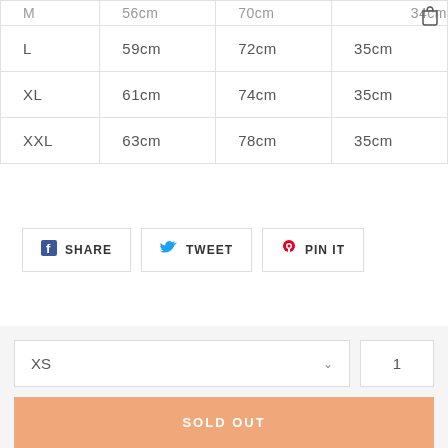| Size | Width | Length | Sleeve |
| --- | --- | --- | --- |
| M | 56cm | 70cm | 34cm |
| L | 59cm | 72cm | 35cm |
| XL | 61cm | 74cm | 35cm |
| XXL | 63cm | 78cm | 35cm |
SHARE   TWEET   PIN IT
XS
1
SOLD OUT